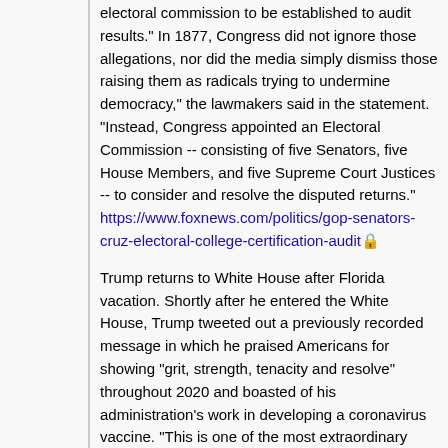electoral commission to be established to audit results." In 1877, Congress did not ignore those allegations, nor did the media simply dismiss those raising them as radicals trying to undermine democracy," the lawmakers said in the statement. "Instead, Congress appointed an Electoral Commission -- consisting of five Senators, five House Members, and five Supreme Court Justices -- to consider and resolve the disputed returns." https://www.foxnews.com/politics/gop-senators-cruz-electoral-college-certification-audit 🔒
Trump returns to White House after Florida vacation. Shortly after he entered the White House, Trump tweeted out a previously recorded message in which he praised Americans for showing "grit, strength, tenacity and resolve" throughout 2020 and boasted of his administration's work in developing a coronavirus vaccine. "This is one of the most extraordinary scientific, industrial and medical feats in history. Everybody has it at that," Trump said. "That's what they're marking it